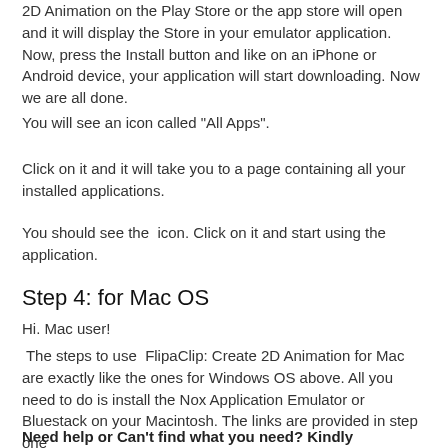2D Animation on the Play Store or the app store will open and it will display the Store in your emulator application. Now, press the Install button and like on an iPhone or Android device, your application will start downloading. Now we are all done.
You will see an icon called "All Apps".
Click on it and it will take you to a page containing all your installed applications.
You should see the  icon. Click on it and start using the application.
Step 4: for Mac OS
Hi. Mac user!
The steps to use  FlipaClip: Create 2D Animation for Mac are exactly like the ones for Windows OS above. All you need to do is install the Nox Application Emulator or Bluestack on your Macintosh. The links are provided in step one
Need help or Can't find what you need? Kindly